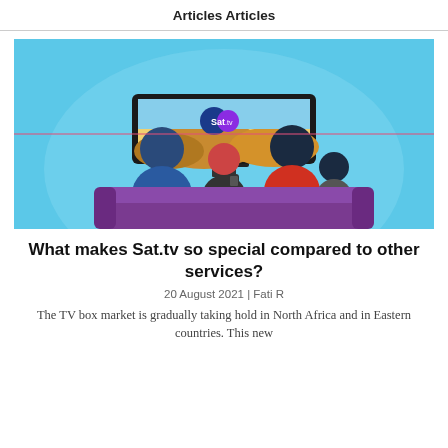Articles Articles
[Figure (illustration): Illustration of a family (two adults and a child) sitting on a purple sofa, viewed from behind, watching a TV displaying the Sat.tv logo over a desert landscape. Background is light blue.]
What makes Sat.tv so special compared to other services?
20 August 2021 | Fati R
The TV box market is gradually taking hold in North Africa and in Eastern countries. This new